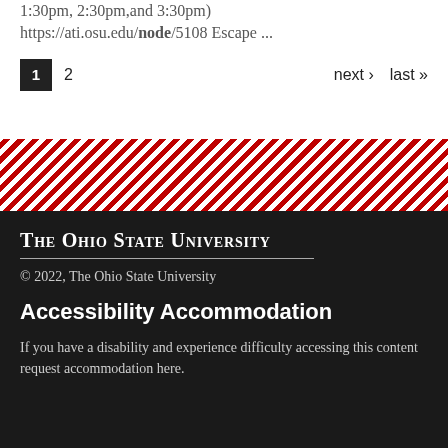1:30pm, 2:30pm, and 3:30pm) https://ati.osu.edu/node/5108 Escape ...
1  2  next › last »
[Figure (other): Diagonal red and white stripe decorative band]
The Ohio State University
© 2022, The Ohio State University
Accessibility Accommodation
If you have a disability and experience difficulty accessing this content request accommodation here.